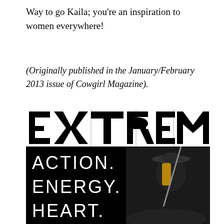Way to go Kaila; you're an inspiration to women everywhere!
(Originally published in the January/February 2013 issue of Cowgirl Magazine).
[Figure (illustration): Magazine cover of Cowgirl Magazine January/February 2013 issue. Large bold text reads 'EXTREME' at top, then on a black background 'ACTION. ENERGY. HEART.' in white sans-serif letters. A woman wearing a wide-brimmed hat and dark clothing holding a long stick/flag is visible on the right side, appearing to be on horseback.]